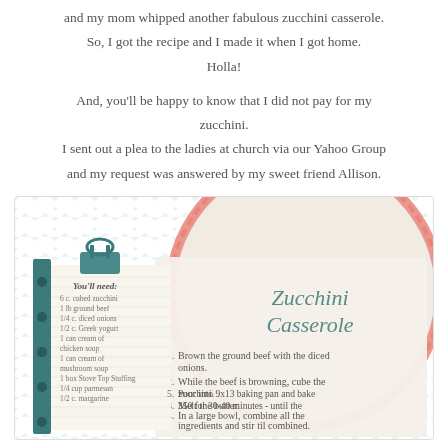and my mom whipped another fabulous zucchini casserole. So, I got the recipe and I made it when I got home. Holla!
And, you'll be happy to know that I did not pay for my zucchini. I sent out a plea to the ladies at church via our Yahoo Group and my request was answered by my sweet friend Allison.
[Figure (photo): A decorative recipe card for Zucchini Casserole on a teal chevron background with a coral doily. The card shows ingredients list (You'll need: 6 c. cubed zucchini, 1 lb ground beef, 1/4 c. diced onions, 1/2 c. Greek yogurt, 1 can cream of chicken soup, 1 can cream of mushroom soup, 1 box Stove Top Stuffing, 1/4 cup parmesan, 1/2 c. margarine) and numbered instructions: 1. Brown the ground beef with the diced onions. 2. While the beef is browning, cube the zucchini. 3. Melt the butter. 4. In a large bowl, combine all the ingredients and stir til combined. 5. Pour into 9x13 baking pan and bake 350 for 30-40 minutes - until the...]